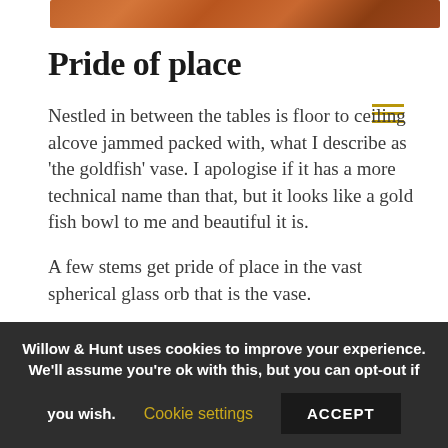[Figure (photo): Close-up of wood grain texture in warm reddish-brown tones, partially visible at top of page]
Pride of place
Nestled in between the tables is floor to ceiling alcove jammed packed with, what I describe as ‘the goldfish’ vase. I apologise if it has a more technical name than that, but it looks like a gold fish bowl to me and beautiful it is.
A few stems get pride of place in the vast spherical glass orb that is the vase.
They come in a number of different sizes, so grouping them together would be a simple, but very effective feature piece in the middle
Willow & Hunt uses cookies to improve your experience. We’ll assume you’re ok with this, but you can opt-out if you wish. Cookie settings ACCEPT